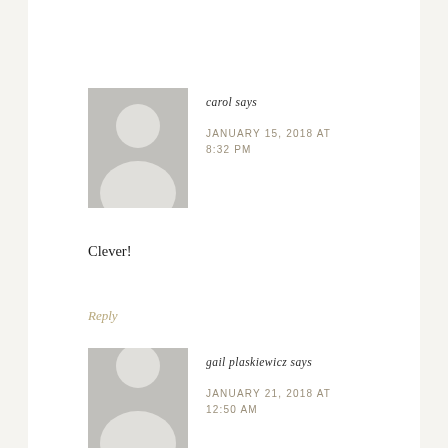[Figure (illustration): Grey avatar placeholder silhouette for user carol]
carol says
JANUARY 15, 2018 AT 8:32 PM
Clever!
Reply
[Figure (illustration): Grey avatar placeholder silhouette for user gail plaskiewicz]
gail plaskiewicz says
JANUARY 21, 2018 AT 12:50 AM